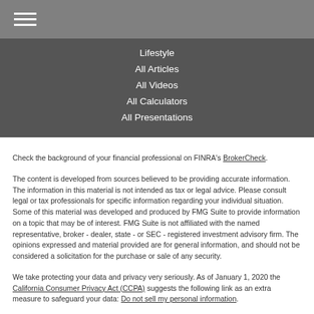[Figure (other): Hamburger menu icon with three horizontal white lines on gray background]
Lifestyle
All Articles
All Videos
All Calculators
All Presentations
Check the background of your financial professional on FINRA's BrokerCheck.
The content is developed from sources believed to be providing accurate information. The information in this material is not intended as tax or legal advice. Please consult legal or tax professionals for specific information regarding your individual situation. Some of this material was developed and produced by FMG Suite to provide information on a topic that may be of interest. FMG Suite is not affiliated with the named representative, broker - dealer, state - or SEC - registered investment advisory firm. The opinions expressed and material provided are for general information, and should not be considered a solicitation for the purchase or sale of any security.
We take protecting your data and privacy very seriously. As of January 1, 2020 the California Consumer Privacy Act (CCPA) suggests the following link as an extra measure to safeguard your data: Do not sell my personal information.
Copyright 2022 FMG Suite.